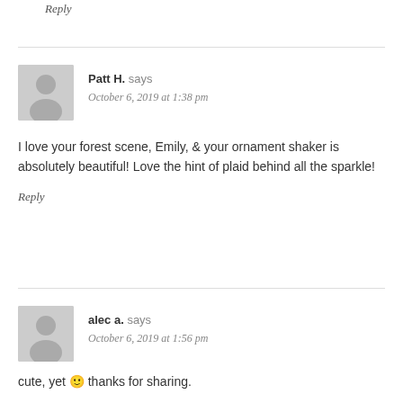Reply
Patt H. says
October 6, 2019 at 1:38 pm
I love your forest scene, Emily, & your ornament shaker is absolutely beautiful! Love the hint of plaid behind all the sparkle!
Reply
alec a. says
October 6, 2019 at 1:56 pm
cute, yet 🙂 thanks for sharing.